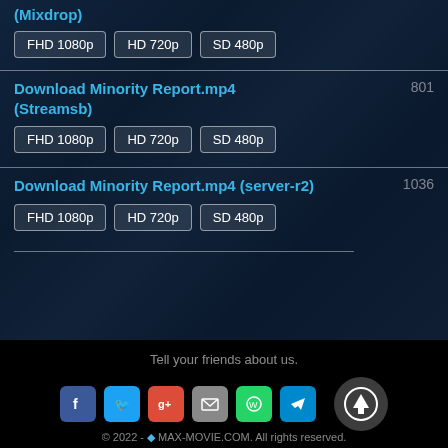Download Minority Report.mp4 (Mixdrop)
FHD 1080p
HD 720p
SD 480p
Download Minority Report.mp4 (Streamsb) 801
FHD 1080p
HD 720p
SD 480p
Download Minority Report.mp4 (server-r2) 1036
FHD 1080p
HD 720p
SD 480p
Tell your friends about us.
© 2022 - MAX-MOVIE.COM. All rights reserved.